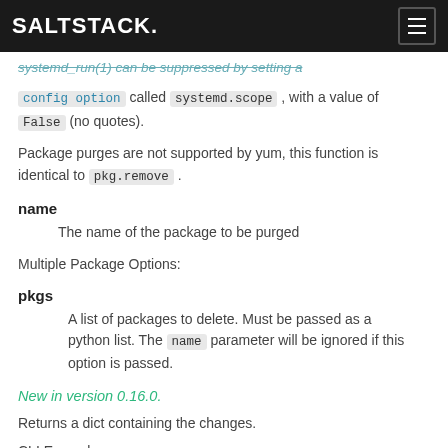SALTSTACK
systemd_run(1) can be suppressed by setting a config option called systemd.scope, with a value of False (no quotes).
Package purges are not supported by yum, this function is identical to pkg.remove.
name
The name of the package to be purged
Multiple Package Options:
pkgs
A list of packages to delete. Must be passed as a python list. The name parameter will be ignored if this option is passed.
New in version 0.16.0.
Returns a dict containing the changes.
CLI Example: